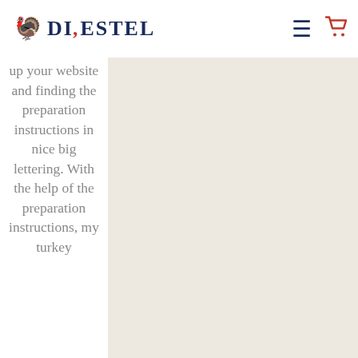Diestel
up your website and finding the preparation instructions in nice big lettering. With the help of the preparation instructions, my turkey